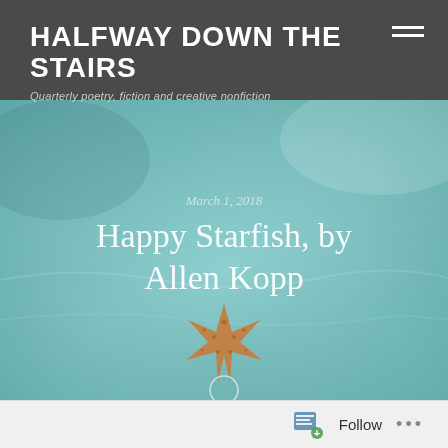HALFWAY DOWN THE STAIRS — Quarterly poetry, fiction and creative nonfiction
[Figure (photo): Teal/turquoise textured background resembling water or stone, with a starfish in the center. Overlaid with date 'March 1, 2018' and title 'Happy Starfish, by Allen Kopp']
Happy Starfish, by Allen Kopp
March 1, 2018
Follow ...